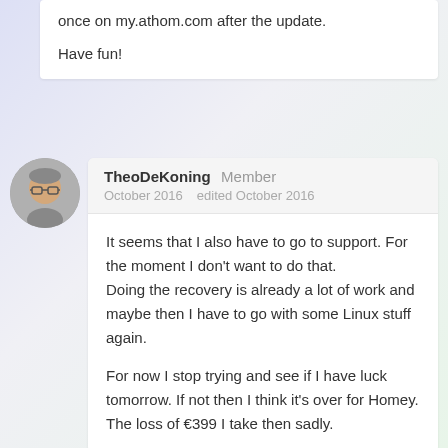once on my.athom.com after the update.
Have fun!
TheoDeKoning Member
October 2016   edited October 2016
It seems that I also have to go to support. For the moment I don't want to do that.
Doing the recovery is already a lot of work and maybe then I have to go with some Linux stuff again.
For now I stop trying and see if I have luck tomorrow. If not then I think it's over for Homey. The loss of €399 I take then sadly.